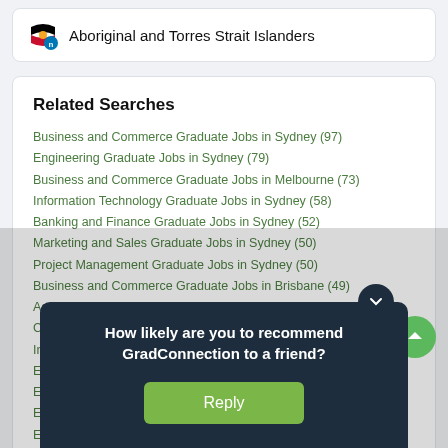Aboriginal and Torres Strait Islanders
Related Searches
Business and Commerce Graduate Jobs in Sydney (97)
Engineering Graduate Jobs in Sydney (79)
Business and Commerce Graduate Jobs in Melbourne (73)
Information Technology Graduate Jobs in Sydney (58)
Banking and Finance Graduate Jobs in Sydney (52)
Marketing and Sales Graduate Jobs in Sydney (50)
Project Management Graduate Jobs in Sydney (50)
Business and Commerce Graduate Jobs in Brisbane (49)
Accounting Graduate Jobs in Sydney (49)
Computer Science Graduate Jobs in Sydney (49)
Information Technology Graduate Jobs in Melbourne (…)
Engineering Graduate Jobs in …
Engineering Graduate Jobs in …
Engineering Graduate Jobs in …
Economics Graduate Jobs in …
Administration Graduate Jobs in …
Consulting Graduate Jobs in …
How likely are you to recommend GradConnection to a friend?
Reply